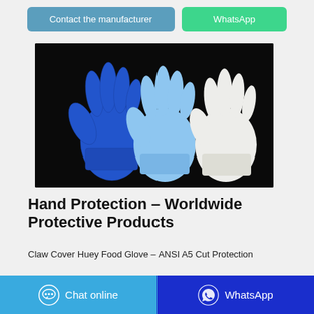Contact the manufacturer
WhatsApp
[Figure (photo): Product photo showing multiple protective gloves against a black background: dark blue nitrile glove, light blue nitrile glove, and white cotton glove displayed side by side.]
Hand Protection – Worldwide Protective Products
Claw Cover Huey Food Glove – ANSI A5 Cut Protection
Chat online
WhatsApp